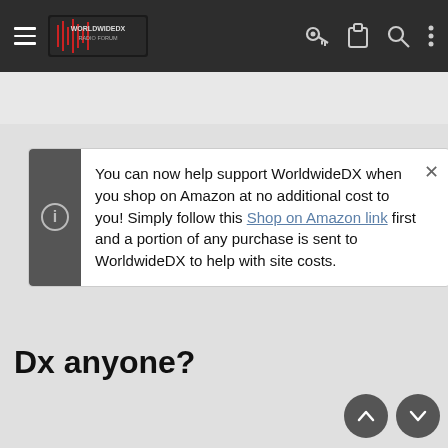WorldwideDX Radio Forum — navigation bar
< Interesting DX Contacts
You can now help support WorldwideDX when you shop on Amazon at no additional cost to you! Simply follow this Shop on Amazon link first and a portion of any purchase is sent to WorldwideDX to help with site costs.
Dx anyone?
This forum does not allow a single user to have more than one username. If anyone wants to change their username contact an admin and it will be done. Multiple accounts belonging to the same member will be deleted without warning.